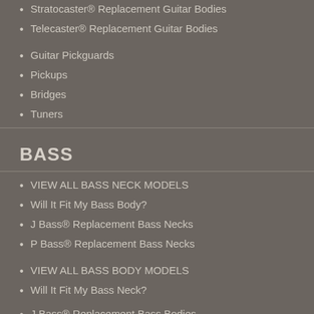Stratocaster® Replacement Guitar Bodies
Telecaster® Replacement Guitar Bodies
Guitar Pickguards
Pickups
Bridges
Tuners
BASS
VIEW ALL BASS NECK MODELS
Will It Fit My Bass Body?
J Bass® Replacement Bass Necks
P Bass® Replacement Bass Necks
VIEW ALL BASS BODY MODELS
Will It Fit My Bass Neck?
J Bass® Replacement Bass Bodies
P Bass® Replacement Bass Bodies